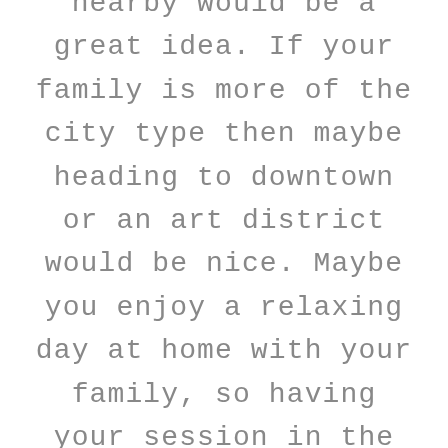nearby would be a great idea. If your family is more of the city type then maybe heading to downtown or an art district would be nice. Maybe you enjoy a relaxing day at home with your family, so having your session in the comfort of your own home would work too! You may also want to take into consideration the season it will be when you